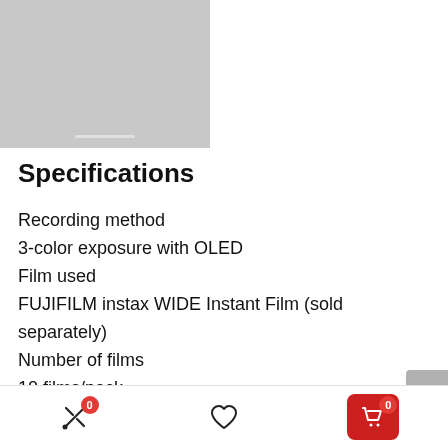[Figure (photo): Product image placeholder (gray rectangle) with a white indicator bar at the bottom]
Specifications
Recording method
3-color exposure with OLED
Film used
FUJIFILM instax WIDE Instant Film (sold separately)
Number of films
10 films/pack
Image size
Bottom navigation bar with compare, wishlist, and cart (0) buttons